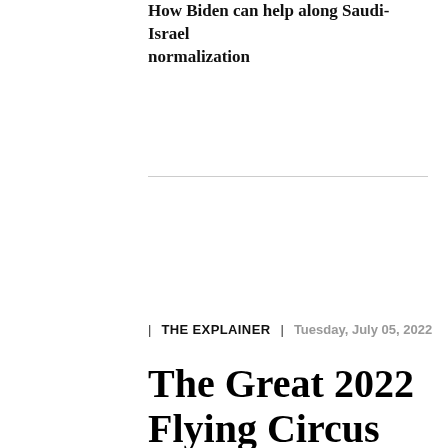How Biden can help along Saudi-Israel normalization
| THE EXPLAINER | Tuesday, July 05, 2022
The Great 2022 Flying Circus